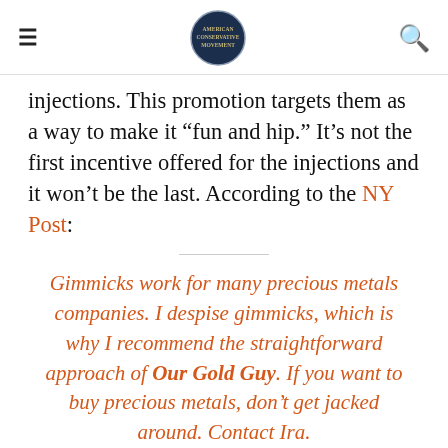≡  [logo]  🔍
injections. This promotion targets them as a way to make it “fun and hip.” It’s not the first incentive offered for the injections and it won’t be the last. According to the NY Post:
Gimmicks work for many precious metals companies. I despise gimmicks, which is why I recommend the straightforward approach of Our Gold Guy. If you want to buy precious metals, don’t get jacked around. Contact Ira.
Washington state has already